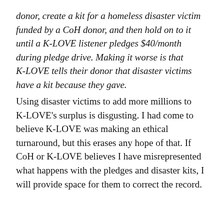donor, create a kit for a homeless disaster victim funded by a CoH donor, and then hold on to it until a K-LOVE listener pledges $40/month during pledge drive. Making it worse is that K-LOVE tells their donor that disaster victims have a kit because they gave.
Using disaster victims to add more millions to K-LOVE's surplus is disgusting. I had come to believe K-LOVE was making an ethical turnaround, but this erases any hope of that. If CoH or K-LOVE believes I have misrepresented what happens with the pledges and disaster kits, I will provide space for them to correct the record.